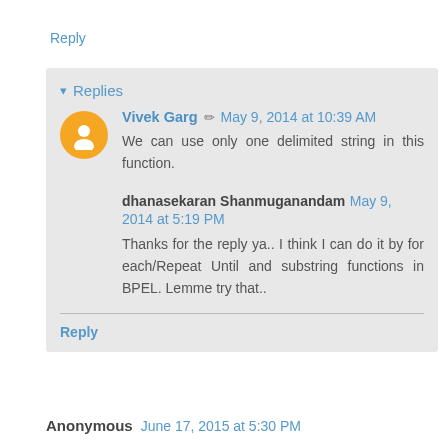Reply
▾ Replies
Vivek Garg ✏ May 9, 2014 at 10:39 AM
We can use only one delimited string in this function.
dhanasekaran Shanmuganandam May 9, 2014 at 5:19 PM
Thanks for the reply ya.. I think I can do it by for each/Repeat Until and substring functions in BPEL. Lemme try that..
Reply
Anonymous June 17, 2015 at 5:30 PM